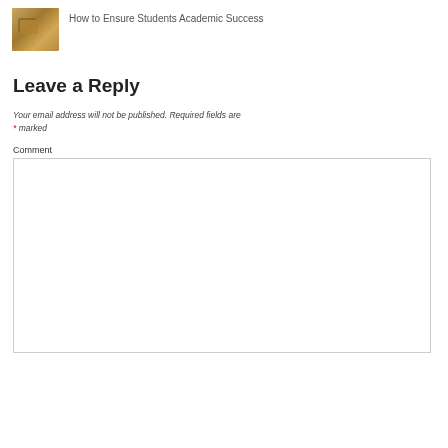[Figure (photo): Small thumbnail image of a key resting on what appears to be a book or document, warm golden/brown tones.]
How to Ensure Students Academic Success
Leave a Reply
Your email address will not be published. Required fields are * marked
Comment